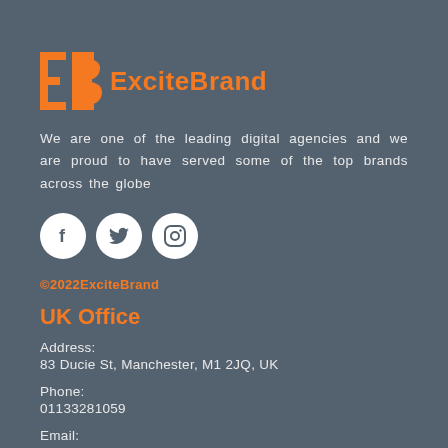[Figure (logo): ExciteBrand logo with orange EB icon and orange ExciteBrand text]
We are one of the leading digital agencies and we are proud to have served some of the top brands across the globe
[Figure (illustration): Three white circular social media icons: Facebook (f), Twitter (bird), Instagram (camera)]
©2022ExciteBrand
UK Office
Address:
83 Ducie St, Manchester, M1 2JQ, UK
Phone:
01133281059
Email: